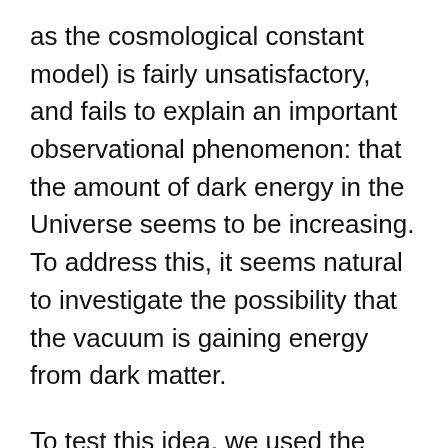as the cosmological constant model) is fairly unsatisfactory, and fails to explain an important observational phenomenon: that the amount of dark energy in the Universe seems to be increasing. To address this, it seems natural to investigate the possibility that the vacuum is gaining energy from dark matter.
To test this idea, we used the numerical codes CAMB and CosmoMC. CAMB computes all the physics that goes on in the cosmological model you want to test, and CosmoMC is a statistical inference code that allows you to estimate the values of model parameters using observational data. We modified these codes to include our